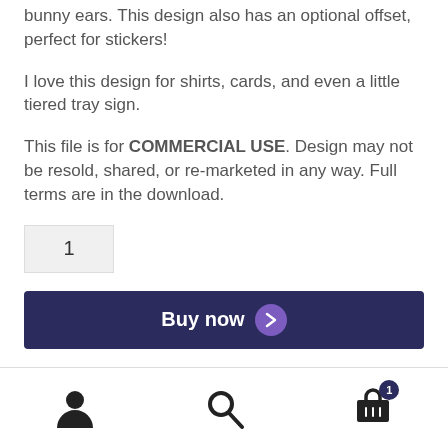bunny ears. This design also has an optional offset, perfect for stickers!
I love this design for shirts, cards, and even a little tiered tray sign.
This file is for COMMERCIAL USE. Design may not be resold, shared, or re-marketed in any way. Full terms are in the download.
1
Buy now
User icon | Search icon | Cart icon with badge 1